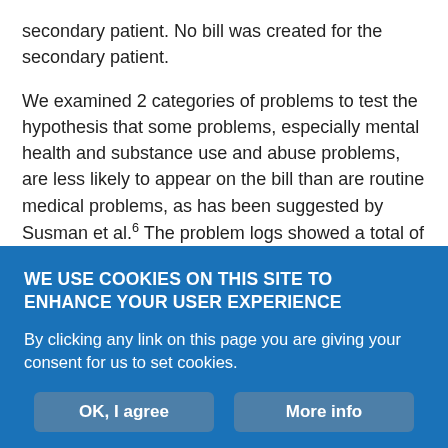secondary patient. No bill was created for the secondary patient.
We examined 2 categories of problems to test the hypothesis that some problems, especially mental health and substance use and abuse problems, are less likely to appear on the bill than are routine medical problems, as has been suggested by Susman et al.6 The problem logs showed a total of 96 entries related to hypertension, and diagnoses related to hypertension appeared 74 times (77%) on the bills. In contrast,137 mental health and substance problems (including tobacco use) were listed in the log, but there were only 58 related diagnoses on the bill (42%). The difference is significant at P
WE USE COOKIES ON THIS SITE TO ENHANCE YOUR USER EXPERIENCE
By clicking any link on this page you are giving your consent for us to set cookies.